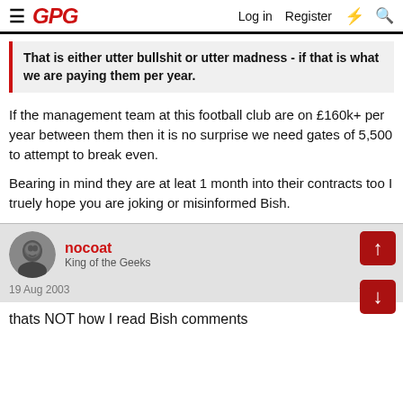GPG — Log in  Register
That is either utter bullshit or utter madness - if that is what we are paying them per year.
If the management team at this football club are on £160k+ per year between them then it is no surprise we need gates of 5,500 to attempt to break even.

Bearing in mind they are at leat 1 month into their contracts too I truely hope you are joking or misinformed Bish.
nocoat
King of the Geeks
19 Aug 2003
thats NOT how I read Bish comments